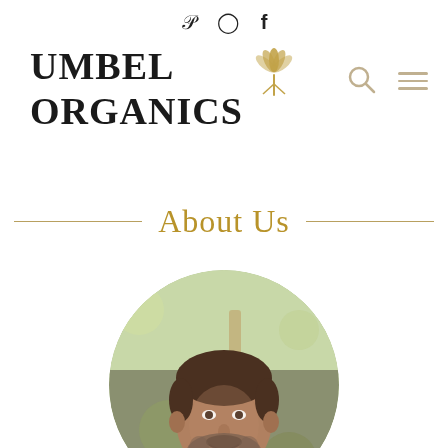Social icons: Pinterest, Instagram, Facebook
[Figure (logo): Umbel Organics logo with botanical emblem and search/menu navigation icons]
About Us
[Figure (photo): Circular portrait photo of a middle-aged man with short dark hair and beard, wearing a dark grey t-shirt, outdoors with green foliage in background]